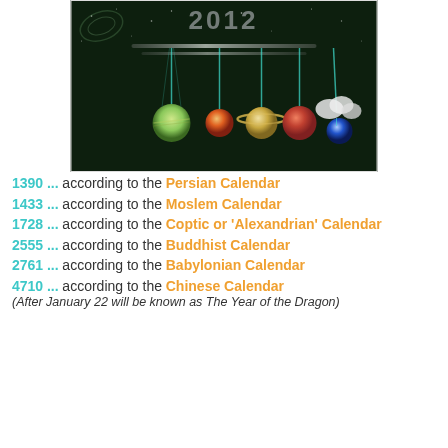[Figure (illustration): Dark space-themed illustration showing planets aligned on a beam of light with the year 2012 visible at top, and a celestial/galactic background]
1390 ... according to the Persian Calendar
1433 ... according to the Moslem Calendar
1728 ... according to the Coptic or 'Alexandrian' Calendar
2555 ... according to the Buddhist Calendar
2761 ... according to the Babylonian Calendar
4710 ... according to the Chinese Calendar
(After January 22 will be known as The Year of the Dragon)